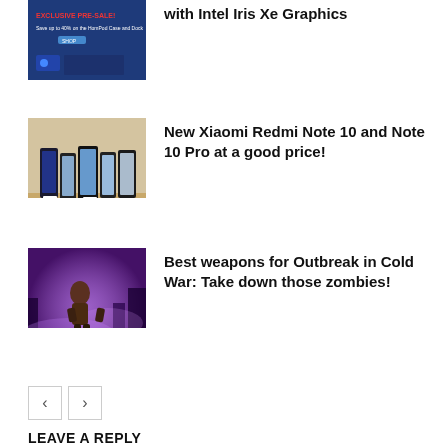[Figure (screenshot): Thumbnail image showing a laptop screen with blue/dark promotional banner text]
with Intel Iris Xe Graphics
[Figure (photo): Thumbnail image of Xiaomi Redmi Note 10 phones displayed on a table in a store setting]
New Xiaomi Redmi Note 10 and Note 10 Pro at a good price!
[Figure (illustration): Thumbnail image of a game character in a purple foggy environment, Call of Duty Cold War Outbreak]
Best weapons for Outbreak in Cold War: Take down those zombies!
< >
LEAVE A REPLY
Comment: